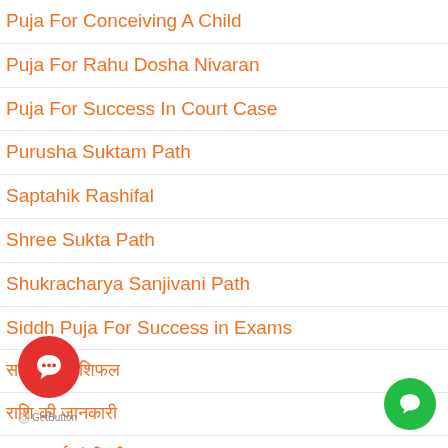Puja For Conceiving A Child
Puja For Rahu Dosha Nivaran
Puja For Success In Court Case
Purusha Suktam Path
Saptahik Rashifal
Shree Sukta Path
Shukracharya Sanjivani Path
Siddh Puja For Success in Exams
सप्ताहिक राशिफल
राशि की जानकारी
शुक्राचार्य संजीवनी पाठ
सिद्ध पूजा